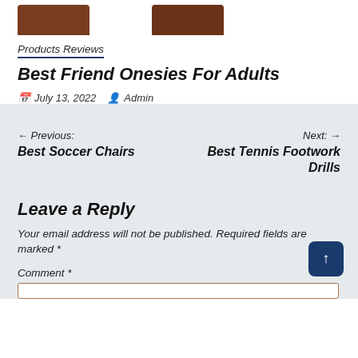[Figure (photo): Cropped product photos showing brown onesie garments at the top of the page]
Products Reviews
Best Friend Onesies For Adults
July 13, 2022  Admin
← Previous: Best Soccer Chairs
Next: → Best Tennis Footwork Drills
Leave a Reply
Your email address will not be published. Required fields are marked *
Comment *